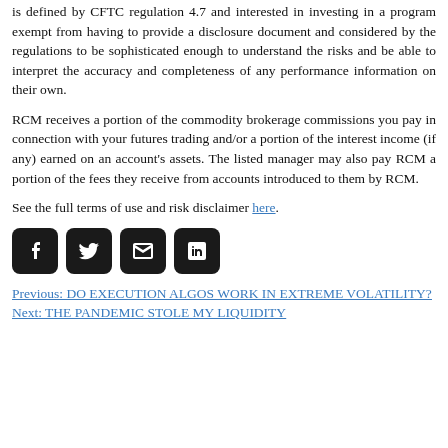is defined by CFTC regulation 4.7 and interested in investing in a program exempt from having to provide a disclosure document and considered by the regulations to be sophisticated enough to understand the risks and be able to interpret the accuracy and completeness of any performance information on their own.
RCM receives a portion of the commodity brokerage commissions you pay in connection with your futures trading and/or a portion of the interest income (if any) earned on an account's assets. The listed manager may also pay RCM a portion of the fees they receive from accounts introduced to them by RCM.
See the full terms of use and risk disclaimer here.
[Figure (other): Social media icons: Facebook, Twitter, Email, LinkedIn — black rounded square buttons]
Previous: DO EXECUTION ALGOS WORK IN EXTREME VOLATILITY?
Next: THE PANDEMIC STOLE MY LIQUIDITY